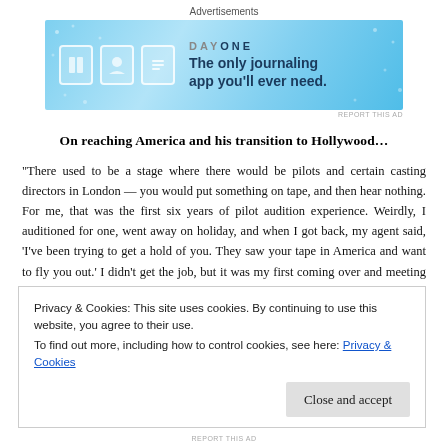Advertisements
[Figure (illustration): Day One journaling app advertisement banner with blue background, app icons, and tagline 'The only journaling app you'll ever need.']
On reaching America and his transition to Hollywood…
“There used to be a stage where there would be pilots and certain casting directors in London — you would put something on tape, and then hear nothing. For me, that was the first six years of pilot audition experience. Weirdly, I auditioned for one, went away on holiday, and when I got back, my agent said, ‘I’ve been trying to get a hold of you. They saw your tape in America and want to fly you out.’ I didn’t get the job, but it was my first coming over and meeting people. Also, because Miranda
Privacy & Cookies: This site uses cookies. By continuing to use this website, you agree to their use.
To find out more, including how to control cookies, see here: Privacy & Cookies
Close and accept